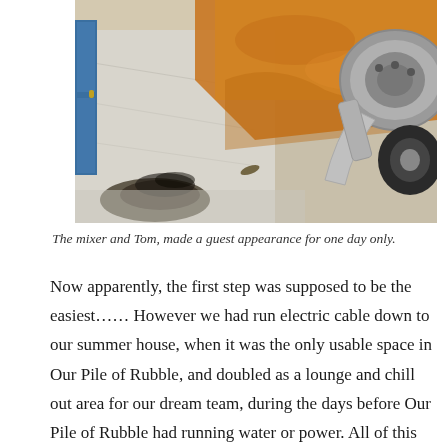[Figure (photo): Outdoor construction scene showing a concrete mixer on the right with a black tire and metal frame, sandy/orange soil spread on a white concrete or tiled surface, a blue door visible on the far left, and a dark muddy area in the foreground.]
The mixer and Tom, made a guest appearance for one day only.
Now apparently, the first step was supposed to be the easiest…… However we had run electric cable down to our summer house, when it was the only usable space in Our Pile of Rubble, and doubled as a lounge and chill out area for our dream team, during the days before Our Pile of Rubble had running water or power. All of this